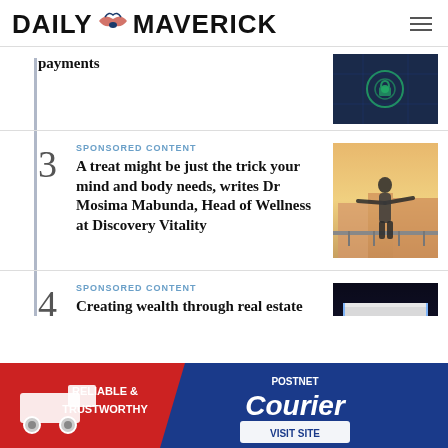DAILY MAVERICK
payments
SPONSORED CONTENT
A treat might be just the trick your mind and body needs, writes Dr Mosima Mabunda, Head of Wellness at Discovery Vitality
[Figure (photo): Person with arms outstretched on a balcony]
SPONSORED CONTENT
Creating wealth through real estate investment
[Figure (photo): Modern building exterior at night with palm trees]
SPONSORED CONTENT
[Figure (photo): Group of people]
[Figure (photo): PostNet Courier advertisement banner - RELIABLE & TRUSTWORTHY - VISIT SITE]